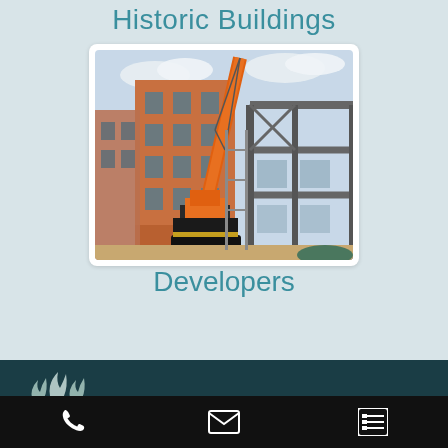Historic Buildings
[Figure (photo): Construction site showing an orange mobile crane in front of a multi-storey brick building with a steel frame structure on the right]
Developers
[Figure (logo): Flame/fire logo icon in teal/white on dark teal background]
Phone icon | Email icon | Menu/list icon